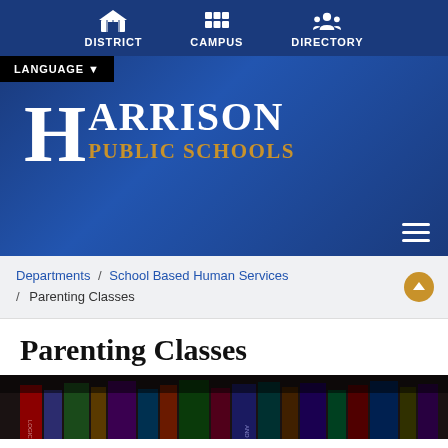DISTRICT  CAMPUS  DIRECTORY
LANGUAGE
[Figure (logo): Harrison Public Schools logo with large H and text 'HARRISON PUBLIC SCHOOLS' in white and gold on blue background]
Departments / School Based Human Services / Parenting Classes
Parenting Classes
[Figure (photo): Partial photo of books, dark background, bottom of page]